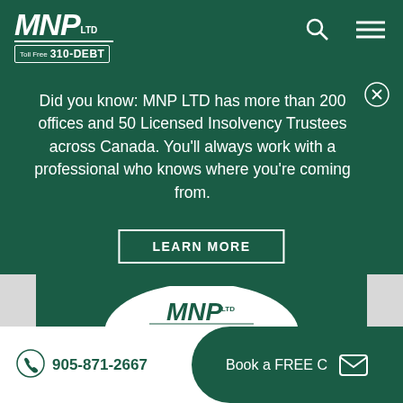MNP LTD Toll Free 310-DEBT
Did you know: MNP LTD has more than 200 offices and 50 Licensed Insolvency Trustees across Canada. You'll always work with a professional who knows where you're coming from.
LEARN MORE
[Figure (logo): MNP LTD Debt Scale badge/shield logo]
905-871-2667
Book a FREE C